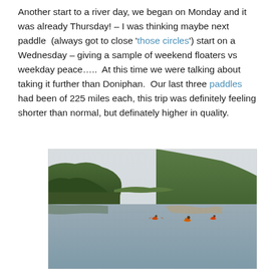Another start to a river day, we began on Monday and it was already Thursday! – I was thinking maybe next paddle  (always got to close 'those circles') start on a Wednesday – giving a sample of weekend floaters vs weekday peace…..  At this time we were talking about taking it further than Doniphan.  Our last three paddles had been of 225 miles each, this trip was definitely feeling shorter than normal, but definately higher in quality.
[Figure (photo): Kayakers paddling on a calm river with tree-covered hills in the background and hazy sky above.]